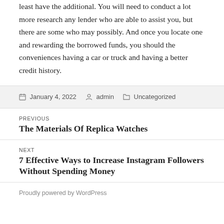least have the additional. You will need to conduct a lot more research any lender who are able to assist you, but there are some who may possibly. And once you locate one and rewarding the borrowed funds, you should the conveniences having a car or truck and having a better credit history.
January 4, 2022  admin  Uncategorized
PREVIOUS
The Materials Of Replica Watches
NEXT
7 Effective Ways to Increase Instagram Followers Without Spending Money
Proudly powered by WordPress